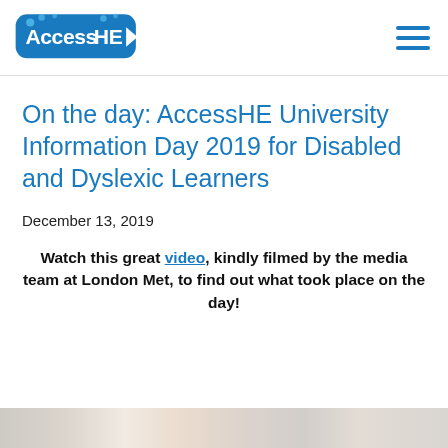AccessHE logo and navigation menu
On the day: AccessHE University Information Day 2019 for Disabled and Dyslexic Learners
December 13, 2019
Watch this great video, kindly filmed by the media team at London Met, to find out what took place on the day!
[Figure (photo): Partial view of a photo strip at the bottom of the page showing an event scene]